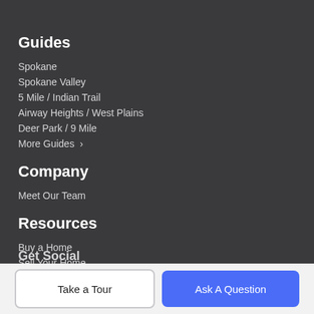Guides
Spokane
Spokane Valley
5 Mile / Indian Trail
Airway Heights / West Plains
Deer Park / 9 Mile
More Guides >
Company
Meet Our Team
Resources
Buy a Home
Sell Your Home
Get Social
Take a Tour
Ask A Question